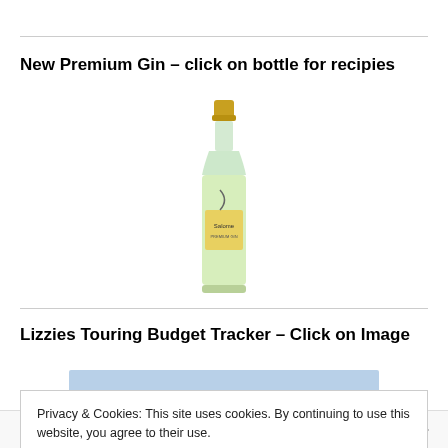New Premium Gin – click on bottle for recipies
[Figure (photo): A tall slender bottle of premium gin with a gold cap and light green/clear body with a label reading 'Salome']
Lizzies Touring Budget Tracker – Click on Image
[Figure (screenshot): A light blue horizontal bar, partial screenshot of a spreadsheet or tracker]
Privacy & Cookies: This site uses cookies. By continuing to use this website, you agree to their use.
To find out more, including how to control cookies, see here: Cookie Policy
Close and accept